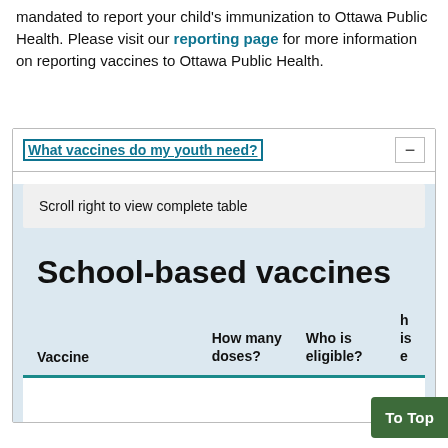mandated to report your child's immunization to Ottawa Public Health. Please visit our reporting page for more information on reporting vaccines to Ottawa Public Health.
What vaccines do my youth need?
Scroll right to view complete table
School-based vaccines
| Vaccine | How many doses? | Who is eligible? | ... |
| --- | --- | --- | --- |